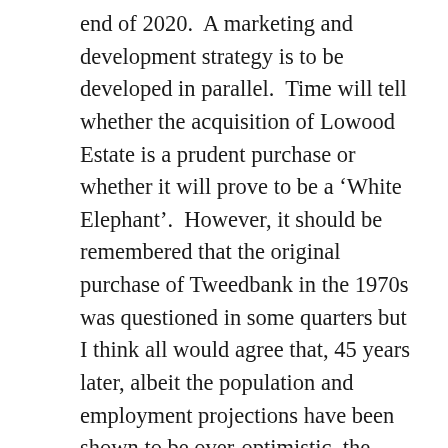end of 2020.  A marketing and development strategy is to be developed in parallel.  Time will tell whether the acquisition of Lowood Estate is a prudent purchase or whether it will prove to be a ‘White Elephant’.  However, it should be remembered that the original purchase of Tweedbank in the 1970s was questioned in some quarters but I think all would agree that, 45 years later, albeit the population and employment projections have been shown to be over-optimistic, the project has been an overwhelming success.  Let us hope that we will be saying the same about this latest purchase in 20 years time.